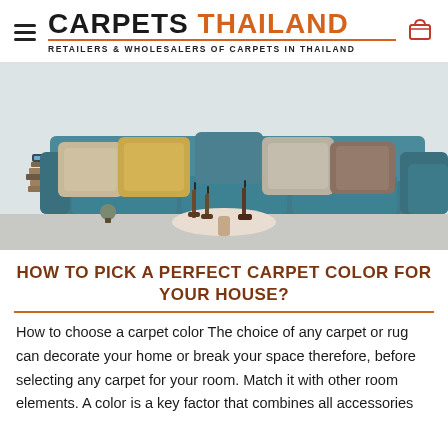CARPETS THAILAND — RETAILERS & WHOLESALERS OF CARPETS IN THAILAND
[Figure (photo): A teal/blue sofa with decorative pillows (cream, gold, grey, brown), a round coffee table with candle holders in front, a stack of books and a small plant to the left, against a light grey wall. Another teal chair is partially visible on the right.]
HOW TO PICK A PERFECT CARPET COLOR FOR YOUR HOUSE?
How to choose a carpet color The choice of any carpet or rug can decorate your home or break your space therefore, before selecting any carpet for your room. Match it with other room elements. A color is a key factor that combines all accessories